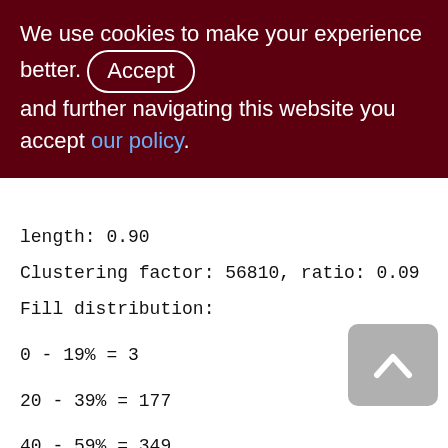We use cookies to make your experience better. By accepting and further navigating this website you accept our policy.
length: 0.90
Clustering factor: 56810, ratio: 0.09
Fill distribution:
0 - 19% = 3
20 - 39% = 177
40 - 59% = 349
60 - 79% = 234
80 - 99% = 97

ZDOC_DATA (230)
Primary pointer page: 644, Index root page: 645
Total formats: 1, used formats: 0